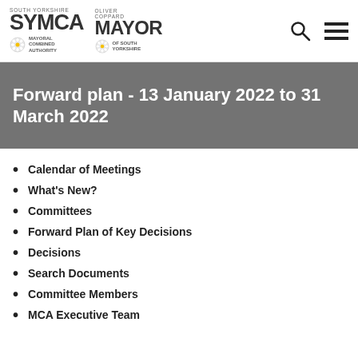South Yorkshire SYMCA Mayoral Combined Authority | Oliver Coppard Mayor of South Yorkshire
Forward plan - 13 January 2022 to 31 March 2022
Calendar of Meetings
What's New?
Committees
Forward Plan of Key Decisions
Decisions
Search Documents
Committee Members
MCA Executive Team